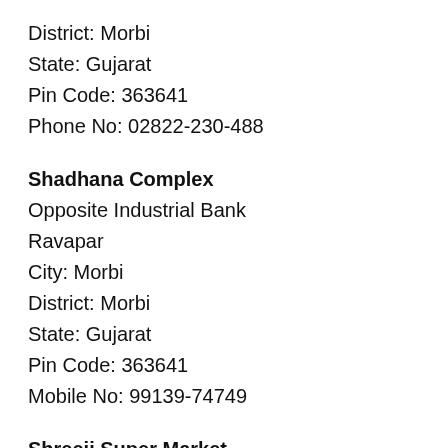District: Morbi
State: Gujarat
Pin Code: 363641
Phone No: 02822-230-488
Shadhana Complex
Opposite Industrial Bank
Ravapar
City: Morbi
District: Morbi
State: Gujarat
Pin Code: 363641
Mobile No: 99139-74749
Shreeji Super Market
Nachiketa Complex